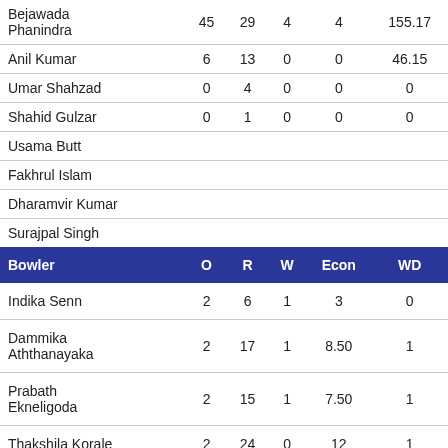| Bowler | O | R | W | Econ | WD |
| --- | --- | --- | --- | --- | --- |
| Bejawada Phanindra | 45 | 29 | 4 | 4 | 155.17 |
| Anil Kumar | 6 | 13 | 0 | 0 | 46.15 |
| Umar Shahzad | 0 | 4 | 0 | 0 | 0 |
| Shahid Gulzar | 0 | 1 | 0 | 0 | 0 |
| Usama Butt |  |  |  |  |  |
| Fakhrul Islam |  |  |  |  |  |
| Dharamvir Kumar |  |  |  |  |  |
| Surajpal Singh |  |  |  |  |  |
| Indika Senn | 2 | 6 | 1 | 3 | 0 |
| Dammika Aththanayaka | 2 | 17 | 1 | 8.50 | 1 |
| Prabath Ekneligoda | 2 | 15 | 1 | 7.50 | 1 |
| Thakshila Korale | 2 | 24 | 0 | 12 | 1 |
| Dinidu Marage | 2 | 4 | 2 | 2 | 1 |